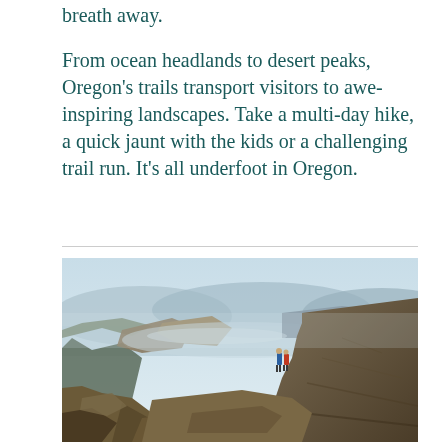breath away.
From ocean headlands to desert peaks, Oregon's trails transport visitors to awe-inspiring landscapes. Take a multi-day hike, a quick jaunt with the kids or a challenging trail run. It's all underfoot in Oregon.
[Figure (photo): Two hikers standing on a rocky mountain summit overlooking a vast desert canyon landscape in Oregon. The foreground shows rugged brown and grey rocks, with a sweeping canyon valley in the background under a hazy blue sky.]